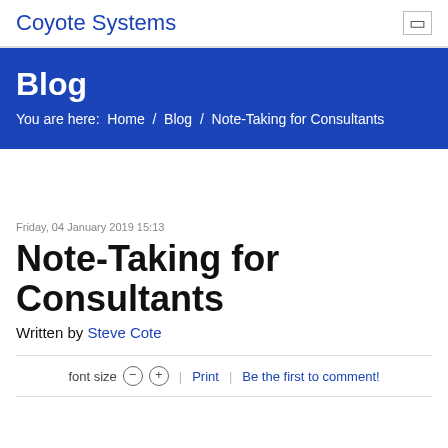Coyote Systems
Blog
You are here:  Home  /  Blog  /  Note-Taking for Consultants
Friday, 04 January 2019 15:13
Note-Taking for Consultants
Written by Steve Cote
font size  −  +  |  Print  |  Be the first to comment!